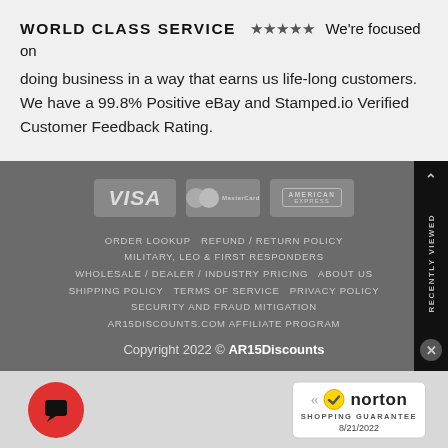WORLD CLASS SERVICE ★★★★★ We're focused on doing business in a way that earns us life-long customers. We have a 99.8% Positive eBay and Stamped.io Verified Customer Feedback Rating.
[Figure (other): Payment method icons: VISA, MasterCard, American Express on a grey background footer area]
ORDER LOOKUP  REFUND / RETURN POLICY  MILITARY, LEO & FIRST RESPONDERS  WHOLESALE / DEALER / INDUSTRY PRICING  ABOUT US  SHIPPING POLICY  TERMS OF SERVICE  PRIVACY POLICY  SECURITY AND FRAUD MITIGATION  AR15DISCOUNTS.COM AFFILIATE PROGRAM
Copyright 2022 © AR15Discounts
[Figure (logo): Norton Shopping Guarantee badge with checkmark, date 8/21/2022]